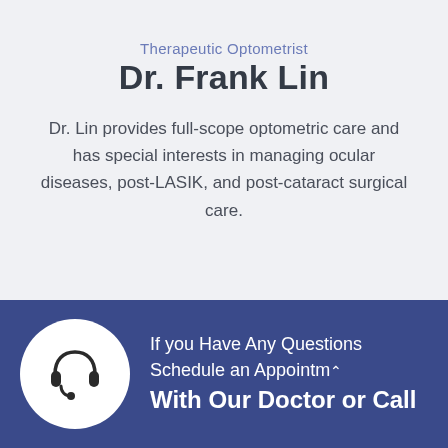Therapeutic Optometrist
Dr. Frank Lin
Dr. Lin provides full-scope optometric care and has special interests in managing ocular diseases, post-LASIK, and post-cataract surgical care.
[Figure (illustration): White circle containing a headset/customer service icon on a dark blue background]
If you Have Any Questions Schedule an Appointm… With Our Doctor or Call